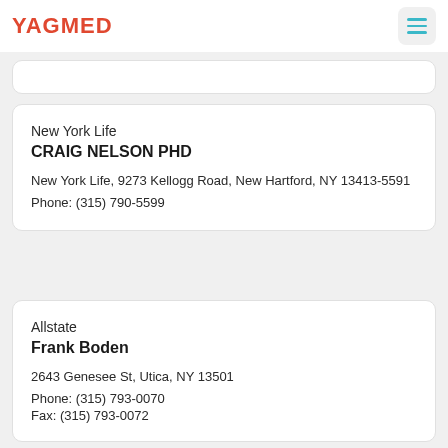YAGMED
New York Life
CRAIG NELSON PHD
New York Life, 9273 Kellogg Road, New Hartford, NY 13413-5591
Phone: (315) 790-5599
Allstate
Frank Boden
2643 Genesee St, Utica, NY 13501
Phone: (315) 793-0070
Fax: (315) 793-0072